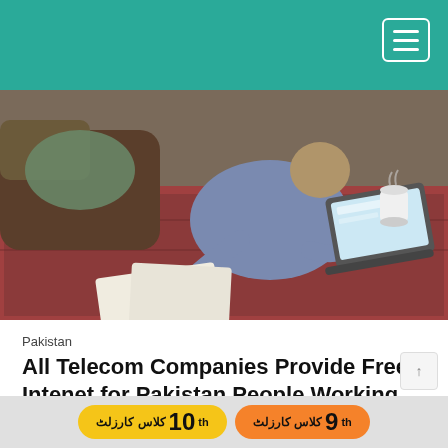[Figure (photo): Overhead view of a person sitting on the floor working on a laptop, with papers and a mug nearby, on a patterned rug]
Pakistan
All Telecom Companies Provide Free Intenet for Pakistan People Working from Home
With most utmost, the world is forced to stay at home because of the coronavirus pandemic disease, there has signified a fast rise in internet usage above the course of the prior month or so.
[Figure (infographic): Two advertisement buttons: yellow button for 10th class results and orange button for 9th class results in Urdu text]